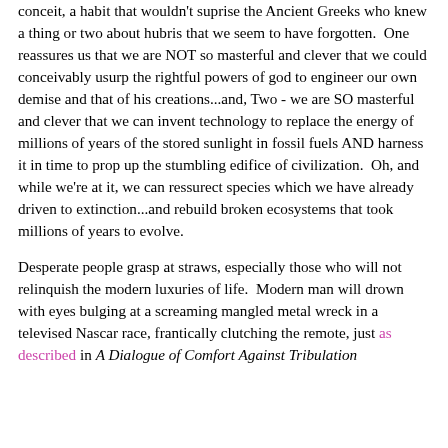conceit, a habit that wouldn't suprise the Ancient Greeks who knew a thing or two about hubris that we seem to have forgotten. One reassures us that we are NOT so masterful and clever that we could conceivably usurp the rightful powers of god to engineer our own demise and that of his creations...and, Two - we are SO masterful and clever that we can invent technology to replace the energy of millions of years of the stored sunlight in fossil fuels AND harness it in time to prop up the stumbling edifice of civilization. Oh, and while we're at it, we can ressurect species which we have already driven to extinction...and rebuild broken ecosystems that took millions of years to evolve.
Desperate people grasp at straws, especially those who will not relinquish the modern luxuries of life. Modern man will drown with eyes bulging at a screaming mangled metal wreck in a televised Nascar race, frantically clutching the remote, just as described in A Dialogue of Comfort Against Tribulation